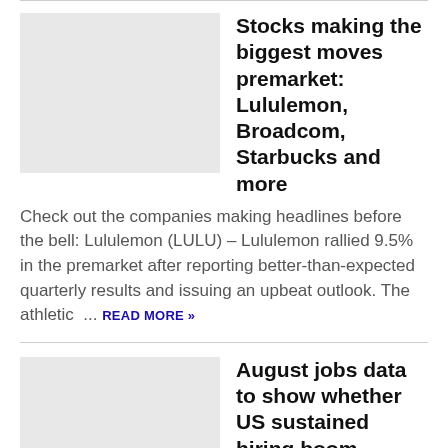[Figure (photo): Thumbnail image placeholder (light gray rectangle) for the Stocks premarket article]
Stocks making the biggest moves premarket: Lululemon, Broadcom, Starbucks and more
Check out the companies making headlines before the bell: Lululemon (LULU) – Lululemon rallied 9.5% in the premarket after reporting better-than-expected quarterly results and issuing an upbeat outlook. The athletic ... READ MORE »
[Figure (photo): Thumbnail image placeholder (light gray rectangle) for the August jobs data article]
August jobs data to show whether US sustained hiring boom
August jobs data to show whether US sustained